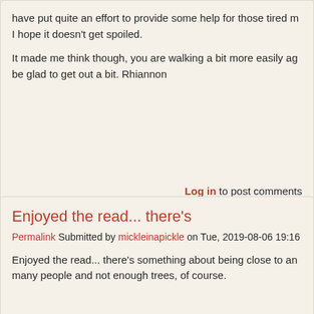have put quite an effort to provide some help for those tired m I hope it doesn't get spoiled.
It made me think though, you are walking a bit more easily ag be glad to get out a bit. Rhiannon
Log in to post comments
Enjoyed the read... there's
Permalink Submitted by mickleinapickle on Tue, 2019-08-06 19:16
Enjoyed the read... there's something about being close to an many people and not enough trees, of course.